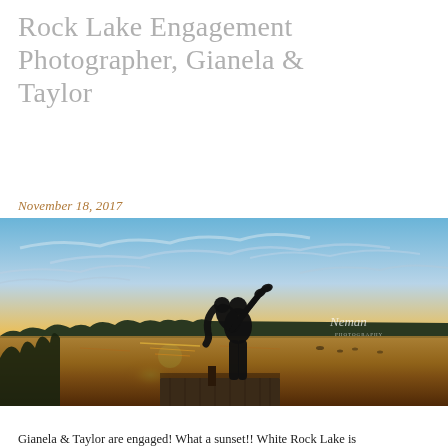Rock Lake Engagement Photographer, Gianela & Taylor
November 18, 2017
[Figure (photo): Silhouette of a couple on a dock at sunset over a lake. The man is lifting and dipping the woman romantically. Dramatic orange and golden sunset sky with scattered clouds. A watermark reads 'Neman' in white script. Wooden dock in the foreground, trees and water in the background.]
Gianela & Taylor are engaged! What a sunset!! White Rock Lake is